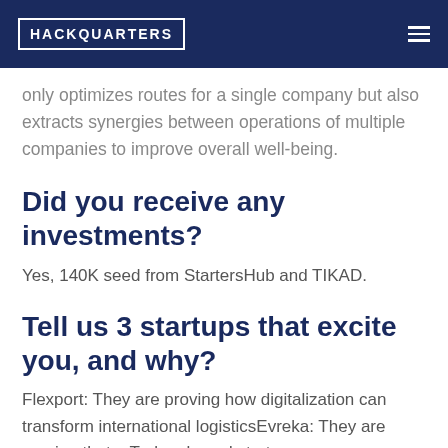HACKQUARTERS
only optimizes routes for a single company but also extracts synergies between operations of multiple companies to improve overall well-being.
Did you receive any investments?
Yes, 140K seed from StartersHub and TIKAD.
Tell us 3 startups that excite you, and why?
Flexport: They are proving how digitalization can transform international logisticsEvreka: They are proving that a Turkey-based startup can serve